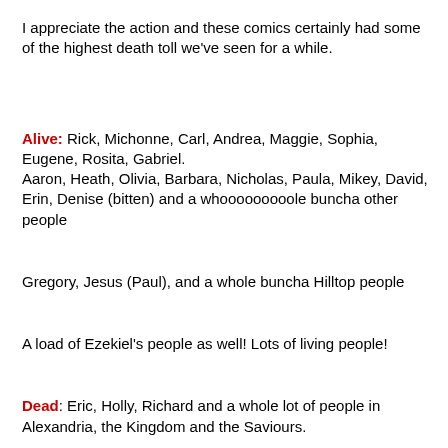I appreciate the action and these comics certainly had some of the highest death toll we've seen for a while.
Alive: Rick, Michonne, Carl, Andrea, Maggie, Sophia, Eugene, Rosita, Gabriel.
Aaron, Heath, Olivia, Barbara, Nicholas, Paula, Mikey, David, Erin, Denise (bitten) and a whooooooooole buncha other people
Gregory, Jesus (Paul), and a whole buncha Hilltop people
A load of Ezekiel's people as well! Lots of living people!
Dead: Eric, Holly, Richard and a whole lot of people in Alexandria, the Kingdom and the Saviours.